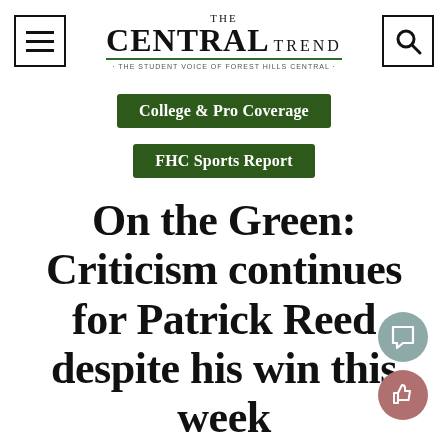THE CENTRAL TREND - THE STUDENT VOICE OF FOREST HILLS CENTRAL -
College & Pro Coverage
FHC Sports Report
On the Green: Criticism continues for Patrick Reed despite his win this week